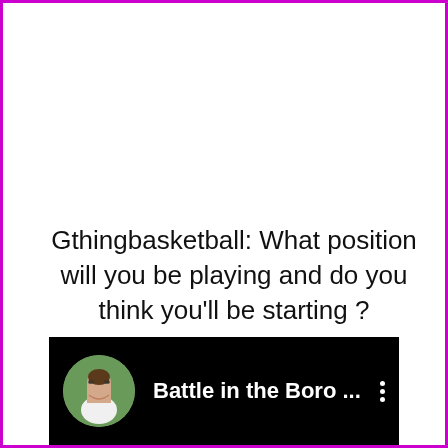Gthingbasketball: What position will you be playing and do you think you'll be starting ?
[Figure (screenshot): A dark/black video bar at the bottom showing a circular avatar photo of a woman with sunglasses outdoors, followed by the text 'Battle in the Boro ...' in white bold font, and a three-dot menu icon on the right.]